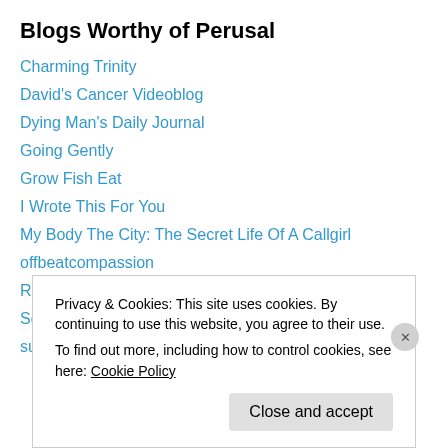Blogs Worthy of Perusal
Charming Trinity
David's Cancer Videoblog
Dying Man's Daily Journal
Going Gently
Grow Fish Eat
I Wrote This For You
My Body The City: The Secret Life Of A Callgirl
offbeatcompassion
Rangewriter: What Comes Next?
Squash Practice
suehealy
Privacy & Cookies: This site uses cookies. By continuing to use this website, you agree to their use. To find out more, including how to control cookies, see here: Cookie Policy
Close and accept